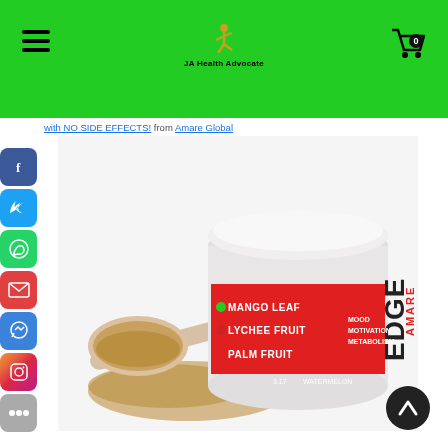JA Health Advocate — navigation header with hamburger menu, logo, and cart icon
with NO SIDE EFFECTS! from Amare Global
[Figure (photo): White cylindrical container of Amare Edge supplement (Watermelon flavor) showing ingredients MANGO LEAF, LYCHEE FRUIT, PALM FRUIT, with MOOD MOTIVATION METABOLISM text, 3.17oz dietary supplement, with a scoop of brown powder spilled in front]
[Figure (other): Social media share buttons column on the left: Facebook (blue), Twitter (light blue), WhatsApp (green), Email (red), Messenger (blue), Instagram (gradient), More (gray)]
[Figure (other): Scroll-to-top circular button (dark background with up arrow) in the bottom right corner]